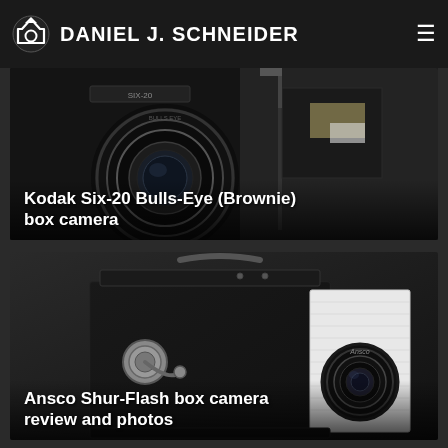DANIEL J. SCHNEIDER
[Figure (photo): Close-up photo of a Kodak Six-20 Bulls-Eye Brownie box camera showing the lens and camera body against a dark background]
Kodak Six-20 Bulls-Eye (Brownie) box camera
[Figure (photo): Photo of an Ansco Shur-Flash box camera showing the black leatherette body with metal latch and Ansco lens, white textured side panel visible]
Ansco Shur-Flash box camera review and photos